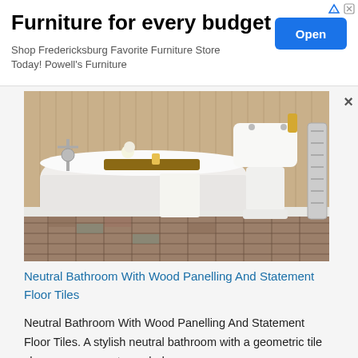[Figure (other): Advertisement banner: 'Furniture for every budget – Shop Fredericksburg Favorite Furniture Store Today! Powell's Furniture' with a blue Open button]
[Figure (photo): Neutral bathroom with a freestanding clawfoot bathtub, wood-panelled walls in beige/tan, patterned geometric floor tiles in brown/grey tones, a pedestal sink, chrome fixtures, and a chrome towel radiator]
Neutral Bathroom With Wood Panelling And Statement Floor Tiles
Neutral Bathroom With Wood Panelling And Statement Floor Tiles. A stylish neutral bathroom with a geometric tile shower space, a stone clad